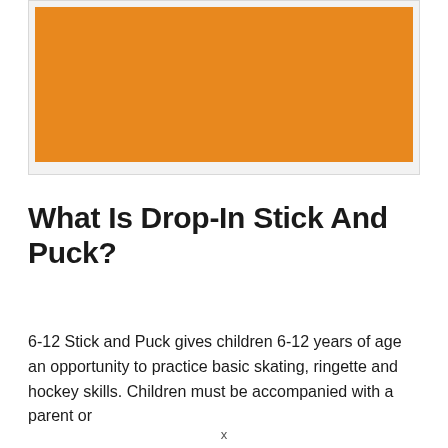[Figure (illustration): Orange rectangle placeholder image inside a light gray bordered frame]
What Is Drop-In Stick And Puck?
6-12 Stick and Puck gives children 6-12 years of age an opportunity to practice basic skating, ringette and hockey skills. Children must be accompanied with a parent or guardian.